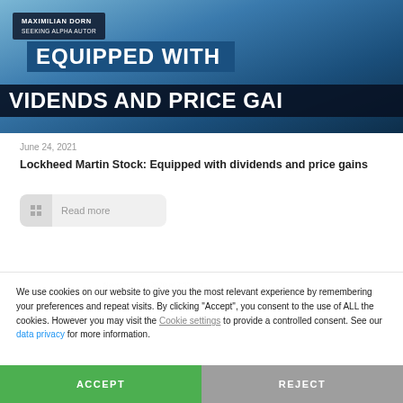[Figure (photo): Book/article banner image showing 'MAXIMILIAN DORN - SEEKING ALPHA AUTOR' with text overlay 'EQUIPPED WITH DIVIDENDS AND PRICE GAI[NS]' on a blue ocean background]
June 24, 2021
Lockheed Martin Stock: Equipped with dividends and price gains
Read more
We use cookies on our website to give you the most relevant experience by remembering your preferences and repeat visits. By clicking "Accept", you consent to the use of ALL the cookies. However you may visit the Cookie settings to provide a controlled consent. See our data privacy for more information.
ACCEPT
REJECT